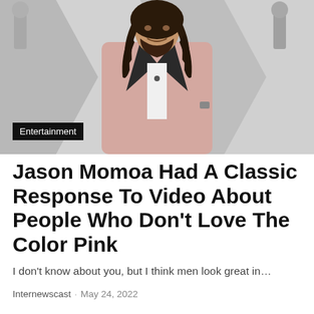[Figure (photo): A man with long curly hair and a beard wearing a pink/blush tuxedo jacket with black lapels and a white shirt, standing in front of a grey geometric background (Oscar awards backdrop). Category label 'Entertainment' overlaid in bottom-left corner.]
Jason Momoa Had A Classic Response To Video About People Who Don't Love The Color Pink
I don't know about you, but I think men look great in…
Internewscast · May 24, 2022